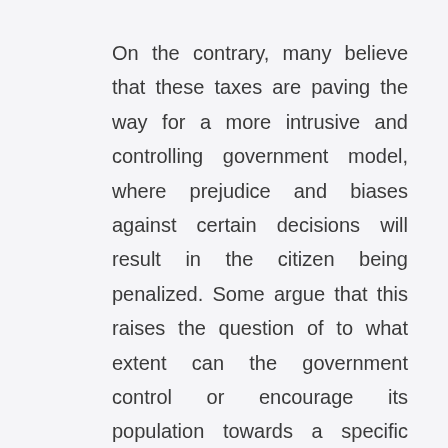On the contrary, many believe that these taxes are paving the way for a more intrusive and controlling government model, where prejudice and biases against certain decisions will result in the citizen being penalized. Some argue that this raises the question of to what extent can the government control or encourage its population towards a specific lifestyle. Furthermore, the taxes are damaging to the economy and are detrimental to existing companies whose businesses rely on such food/beverage products.